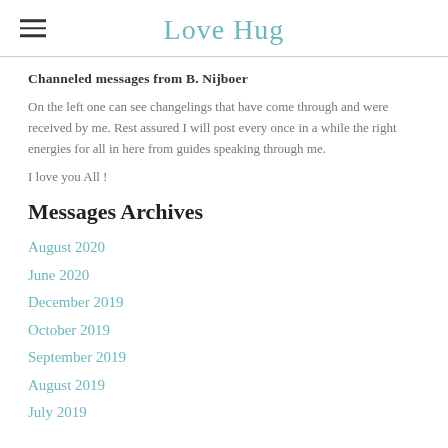Love Hug
Channeled messages from B. Nijboer
On the left one can see changelings that have come through and were received by me. Rest assured I will post every once in a while the right energies for all in here from guides speaking through me.
I love you All !
Messages Archives
August 2020
June 2020
December 2019
October 2019
September 2019
August 2019
July 2019